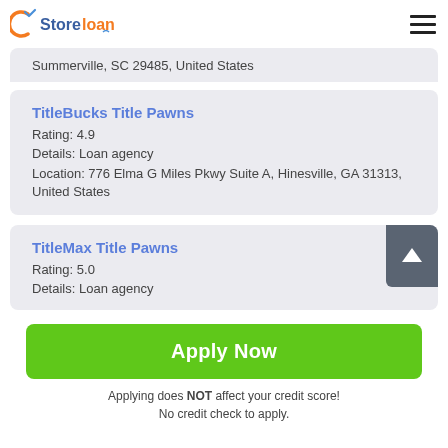Store loan
Summerville, SC 29485, United States
TitleBucks Title Pawns
Rating: 4.9
Details: Loan agency
Location: 776 Elma G Miles Pkwy Suite A, Hinesville, GA 31313, United States
TitleMax Title Pawns
Rating: 5.0
Details: Loan agency
Apply Now
Applying does NOT affect your credit score!
No credit check to apply.